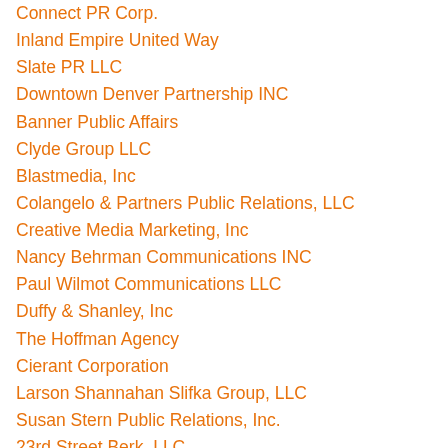Connect PR Corp.
Inland Empire United Way
Slate PR LLC
Downtown Denver Partnership INC
Banner Public Affairs
Clyde Group LLC
Blastmedia, Inc
Colangelo & Partners Public Relations, LLC
Creative Media Marketing, Inc
Nancy Behrman Communications INC
Paul Wilmot Communications LLC
Duffy & Shanley, Inc
The Hoffman Agency
Cierant Corporation
Larson Shannahan Slifka Group, LLC
Susan Stern Public Relations, Inc.
23rd Street Berk, LLC
Hiltzik Strategies, LLC
North 6th Agency INC